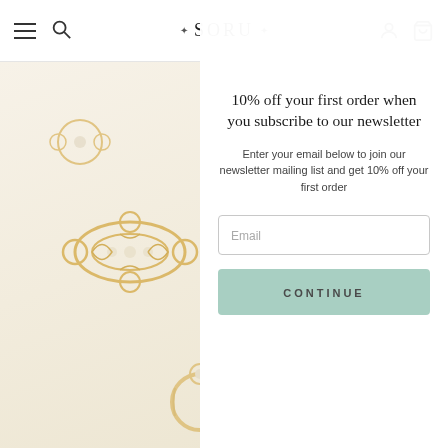SORU — navigation bar with hamburger menu, search, logo, account, and cart icons
[Figure (photo): Background showing gold filigree jewelry pieces (brooches, rings) on a light cream background, partially visible behind the modal overlay]
10% off your first order when you subscribe to our newsletter
Enter your email below to join our newsletter mailing list and get 10% off your first order
Email (input field placeholder)
CONTINUE